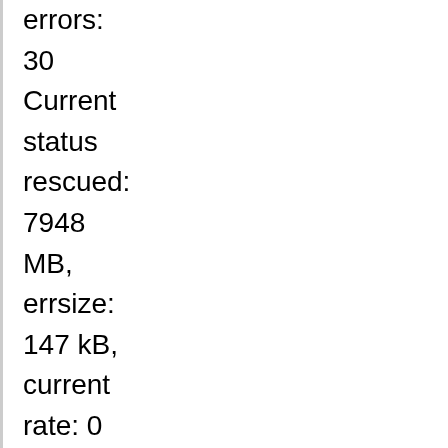errors:
30
Current status rescued: 7948 MB, errsize: 147 kB, current rate: 0 B/s ipos: 4393 MB, errors: 30, average rate: 0